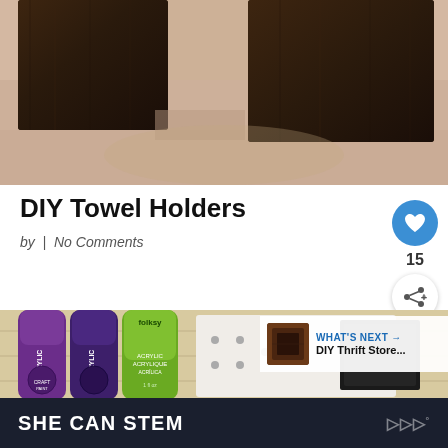[Figure (photo): Two dark stained wooden towel holder blocks mounted on a light beige textured wall, viewed from below at close range.]
DIY Towel Holders
by  |  No Comments
[Figure (photo): Close-up of acrylic paint tubes in purple, dark purple, and lime green (FolkArt brand) on a white wooden surface with small metal pegs and a dark square item visible.]
WHAT'S NEXT → DIY Thrift Store...
SHE CAN STEM